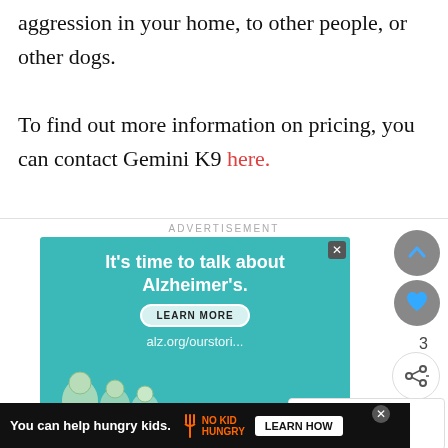aggression in your home, to other people, or other dogs.
To find out more information on pricing, you can contact Gemini K9 here.
[Figure (screenshot): Advertisement banner for Alzheimer's awareness: teal background with text 'It’s time to talk about Alzheimer’s.' and a 'LEARN MORE' button, alz.org/ourstori... URL, illustrated elderly figures at bottom. UI elements including scroll-up button, heart/like button with count 3, share button, and 'WHAT'S NEXT → Training Programs fo...' sidebar.]
[Figure (screenshot): Bottom advertisement bar on dark background: 'You can help hungry kids.' with No Kid Hungry logo and LEARN HOW button. Mobile browser UI element at right.]